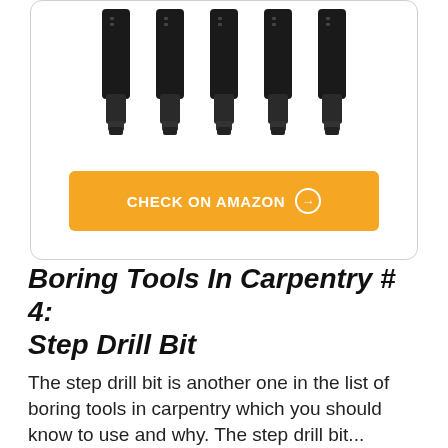[Figure (photo): Product image showing five black drill bit shanks/holders lined up in a row against a white background, inside a rounded card.]
CHECK ON AMAZON →
Boring Tools In Carpentry # 4: Step Drill Bit
The step drill bit is another one in the list of boring tools in carpentry which you should know to use and why. The step drill bit...